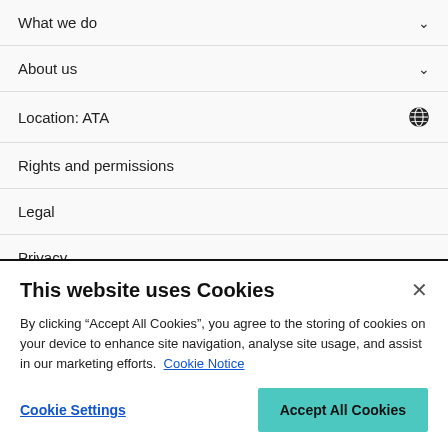What we do
About us
Location: ATA
Rights and permissions
Legal
Privacy
Modern slavery
People and planet
This website uses Cookies
By clicking “Accept All Cookies”, you agree to the storing of cookies on your device to enhance site navigation, analyse site usage, and assist in our marketing efforts. Cookie Notice